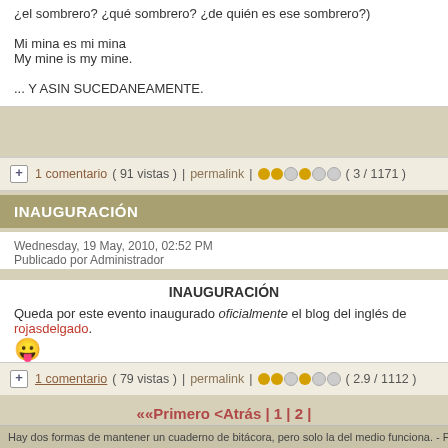¿el sombrero? ¿qué sombrero? ¿de quién es ese sombrero?)
Mi mina es mi mina
My mine is my mine.
... Y ASIN SUCEDANEAMENTE.
1 comentario ( 91 vistas )  |  permalink  |  ●●○●○  ( 3 / 1171 )
INAUGURACIÓN
Wednesday, 19 May, 2010, 02:52 PM
Publicado por Administrador
INAUGURACIÓN
Queda por este evento inaugurado oficialmente el blog del inglés de rojasdelgado. 😛
1 comentario ( 79 vistas )  |  permalink  |  ●●○●○  ( 2.9 / 1112 )
<<Primero <Atrás | 1 | 2 |
Hay dos formas de mantener un cuaderno de bitácora, pero solo la del medio funciona. - Pagina generada en